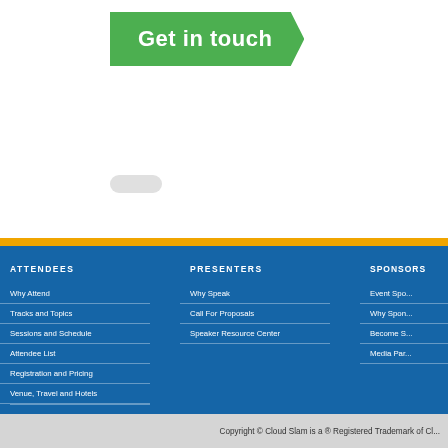[Figure (logo): Green banner badge with white text 'Get in touch' and a yellow pencil icon, styled as a ribbon arrow]
ATTENDEES
Why Attend
Tracks and Topics
Sessions and Schedule
Attendee List
Registration and Pricing
Venue, Travel and Hotels
PRESENTERS
Why Speak
Call For Proposals
Speaker Resource Center
SPONSORS
Event Spo...
Why Spon...
Become S...
Media Par...
Copyright © Cloud Slam is a ® Registered Trademark of Cl...